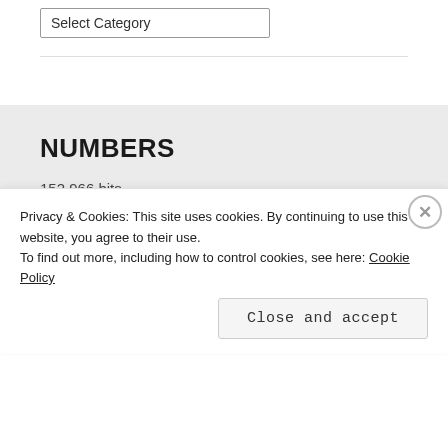[Figure (screenshot): A dropdown UI element labeled 'Select Category' with a chevron arrow on the right, styled with a border and white background.]
NUMBERS
152,966 hits
VAULT
Privacy & Cookies: This site uses cookies. By continuing to use this website, you agree to their use.
To find out more, including how to control cookies, see here: Cookie Policy
Close and accept